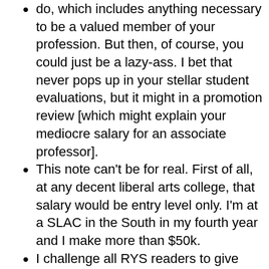do, which includes anything necessary to be a valued member of your profession. But then, of course, you could just be a lazy-ass. I bet that never pops up in your stellar student evaluations, but it might in a promotion review [which might explain your mediocre salary for an associate professor].
This note can't be for real. First of all, at any decent liberal arts college, that salary would be entry level only. I'm at a SLAC in the South in my fourth year and I make more than $50k.
I challenge all RYS readers to give their real hours. I'm in my seventh year of teaching, one year to my tenure board and I work much closer to 400 than to 2800! Put me down for about 25 a week. But that's a lot of reading and writing I would be doing ANYWAY. Life of the mind, people. It's a little bit easy because it's something I love to do. I have colleagues like the 2800 hour nut who simply MUST tell the rest of us how hard they work. You know what? I don't give a shit.